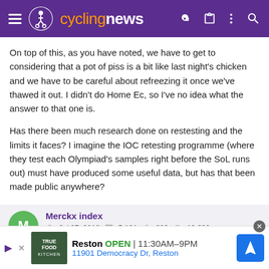cyclingnews
On top of this, as you have noted, we have to get to considering that a pot of piss is a bit like last night's chicken and we have to be careful about refreezing it once we've thawed it out. I didn't do Home Ec, so I've no idea what the answer to that one is.
Has there been much research done on restesting and the limits it faces? I imagine the IOC retesting programme (where they test each Olympiad's samples right before the SoL runs out) must have produced some useful data, but has that been made public anywhere?
Merckx index
Jul 27, 2010  5,121  883  19,680
[Figure (screenshot): Advertisement banner for True Food Kitchen restaurant in Reston with address 11901 Democracy Dr, Reston and hours OPEN 11:30AM-9PM]